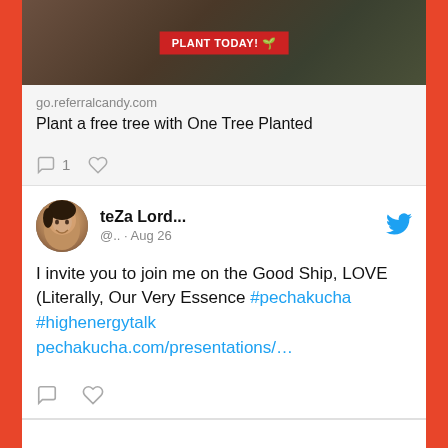[Figure (screenshot): Advertisement image with forest/nature background and red PLANT TODAY! button]
go.referralcandy.com
Plant a free tree with One Tree Planted
[Figure (screenshot): Twitter post by teZa Lord... (@.. · Aug 26) with Twitter bird icon, avatar photo, text: I invite you to join me on the Good Ship, LOVE (Literally, Our Very Essence #pechakucha #highenergytalk pechakucha.com/presentations/…]
I invite you to join me on the Good Ship, LOVE (Literally, Our Very Essence #pechakucha #highenergytalk pechakucha.com/presentations/…